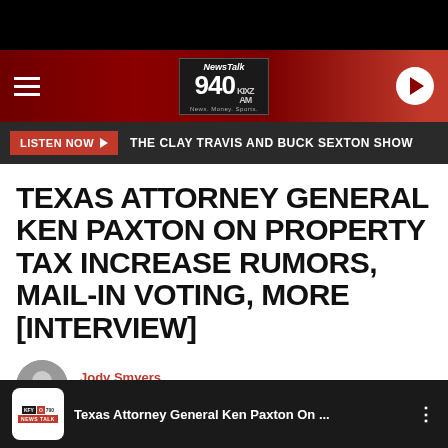[Figure (logo): NewsTalk 940 AM KIXZ radio station header logo with dark red background, hamburger menu on left, station logo in center, and play button on right]
[Figure (infographic): Listen Now button bar with red LISTEN NOW button with arrow and text THE CLAY TRAVIS AND BUCK SEXTON SHOW]
TEXAS ATTORNEY GENERAL KEN PAXTON ON PROPERTY TAX INCREASE RUMORS, MAIL-IN VOTING, MORE [INTERVIEW]
Jody Smyers
Updated: May 19, 2020
[Figure (screenshot): Bottom media player bar showing KFYO News Talk station logo and article title Texas Attorney General Ken Paxton On ...]